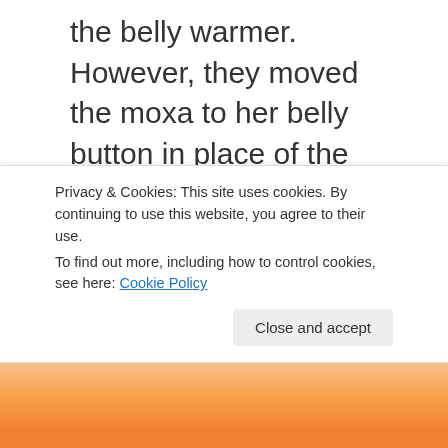the belly warmer. However, they moved the moxa to her belly button in place of the plum. Can someone please tell me how an IV drip and a plum are somehow more weird or offensive than a damn burning piece of dried mugwort? By the way, the moxa is changed in dialogue to incense.
Finally, down to her feet, we see Lettuce has put health sandals on her. This shot is just edited out.
Privacy & Cookies: This site uses cookies. By continuing to use this website, you agree to their use. To find out more, including how to control cookies, see here: Cookie Policy
[Figure (illustration): Bottom portion of an anime-style illustration showing an orange-colored character]